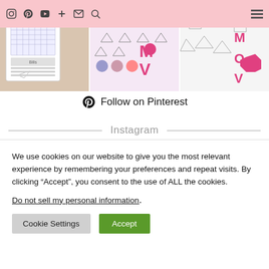Navigation bar with social icons and hamburger menu
[Figure (photo): Three planner/bullet journal photos in a row: left shows a calendar/bill tracker with a paper clip, middle shows sticker symbols in pink and blue, right shows paper folding symbols and pink letters MOV]
Follow on Pinterest
Instagram
We use cookies on our website to give you the most relevant experience by remembering your preferences and repeat visits. By clicking “Accept”, you consent to the use of ALL the cookies.
Do not sell my personal information.